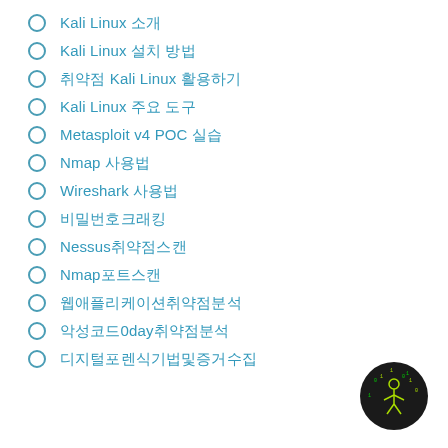Kali Linux 소개
Kali Linux 설치 방법
취약점 Kali Linux 활용하기
Kali Linux 주요 도구
Metasploit v4 POC 실습
Nmap 사용법
Wireshark 사용법
비밀번호크래킹
Nessus취약점스캔
Nmap포트스캔
웹애플리케이션취약점분석
악성코드0day취약점분석
디지털포렌식기법및증거수집